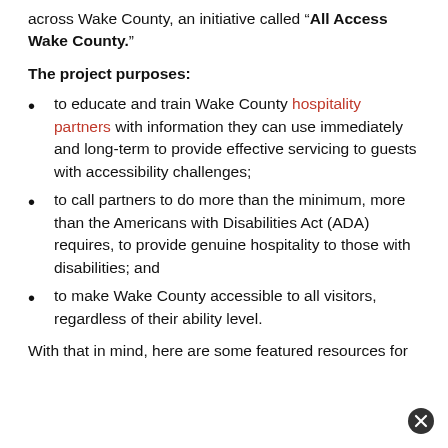across Wake County, an initiative called “All Access Wake County.”
The project purposes:
to educate and train Wake County hospitality partners with information they can use immediately and long-term to provide effective servicing to guests with accessibility challenges;
to call partners to do more than the minimum, more than the Americans with Disabilities Act (ADA) requires, to provide genuine hospitality to those with disabilities; and
to make Wake County accessible to all visitors, regardless of their ability level.
With that in mind, here are some featured resources for